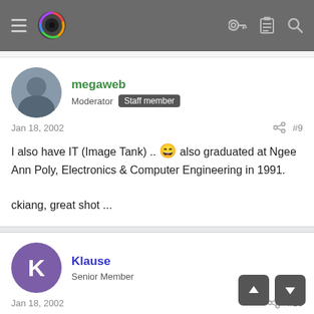Navigation bar with menu, logo, key icon, list icon, search icon
megaweb
Moderator Staff member
Jan 18, 2002  #9
I also have IT (Image Tank) .. 😄 also graduated at Ngee Ann Poly, Electronics & Computer Engineering in 1991.

ckiang, great shot ...
Klause
Senior Member
Jan 18, 2002  #10